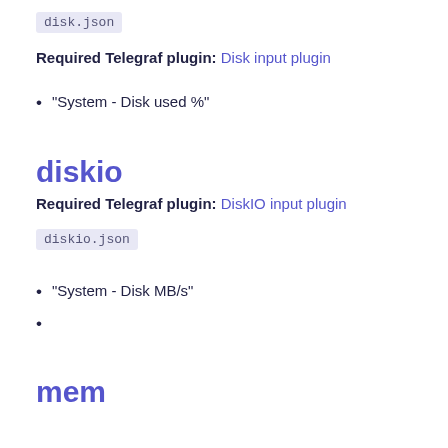disk.json
Required Telegraf plugin: Disk input plugin
“System - Disk used %”
diskio
Required Telegraf plugin: DiskIO input plugin
diskio.json
“System - Disk MB/s”
mem